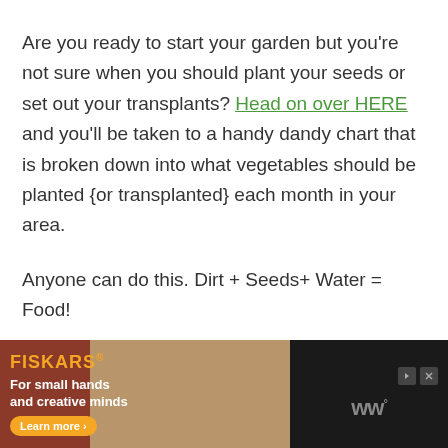Are you ready to start your garden but you're not sure when you should plant your seeds or set out your transplants? Head on over HERE and you'll be taken to a handy dandy chart that is broken down into what vegetables should be planted {or transplanted} each month in your area.
Anyone can do this. Dirt + Seeds+ Water = Food!
[Figure (other): Advertisement banner for Fiskars — 'For small hands and creative minds' with Learn more button and WW logo]